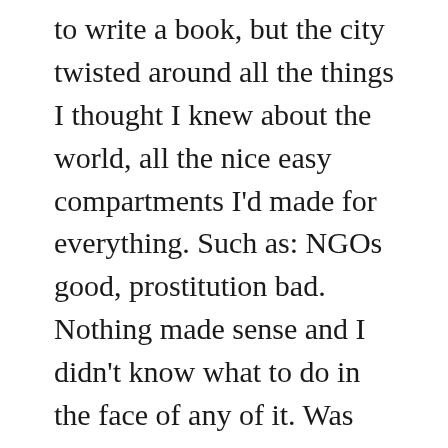to write a book, but the city twisted around all the things I thought I knew about the world, all the nice easy compartments I'd made for everything. Such as: NGOs good, prostitution bad. Nothing made sense and I didn't know what to do in the face of any of it. Was there even anything to do? It was a lost, lonely feeling, and